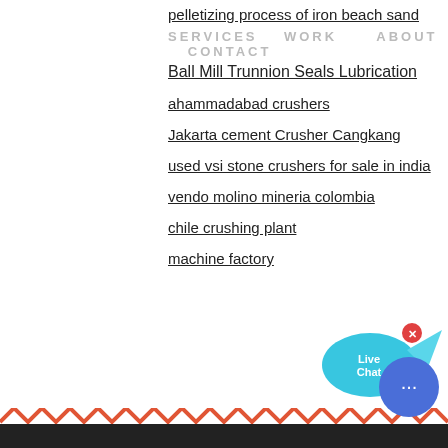pelletizing process of iron beach sand
SERVICES   WORK      ABOUT   CONTACT
Ball Mill Trunnion Seals Lubrication
ahammadabad crushers
Jakarta cement Crusher Cangkang
used vsi stone crushers for sale in india
vendo molino mineria colombia
chile crushing plant
machine factory
[Figure (infographic): Live Chat bubble widget in blue/cyan color with 'Live Chat' text and an X close button]
[Figure (infographic): Color selector panel showing COLOR: label with Orange, Blue, and Yellow color swatches]
[Figure (infographic): Round blue chat button with ellipsis (…) icon at bottom right]
[Figure (infographic): Footer zigzag decorative strip and dark footer bar at page bottom]